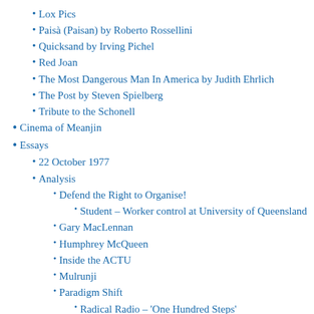Lox Pics
Paisà (Paisan) by Roberto Rossellini
Quicksand by Irving Pichel
Red Joan
The Most Dangerous Man In America by Judith Ehrlich
The Post by Steven Spielberg
Tribute to the Schonell
Cinema of Meanjin
Essays
22 October 1977
Analysis
Defend the Right to Organise!
Student – Worker control at University of Queensland
Gary MacLennan
Humphrey McQueen
Inside the ACTU
Mulrunji
Paradigm Shift
Radical Radio – 'One Hundred Steps'
Save the Mary River
Unions
Workers Political Organisation
World